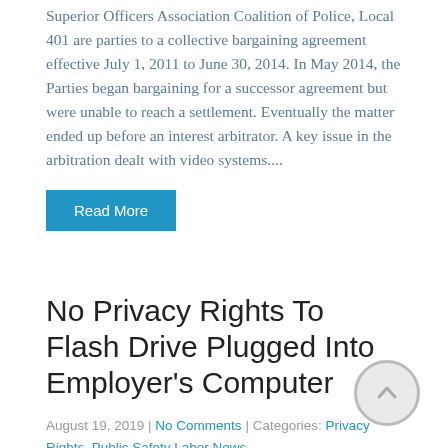The City of Methuen, Massachusetts and the Methuen Police Superior Officers Association Coalition of Police, Local 401 are parties to a collective bargaining agreement effective July 1, 2011 to June 30, 2014. In May 2014, the Parties began bargaining for a successor agreement but were unable to reach a settlement. Eventually the matter ended up before an interest arbitrator. A key issue in the arbitration dealt with video systems....
Read More
No Privacy Rights To Flash Drive Plugged Into Employer's Computer
August 19, 2019 | No Comments | Categories: Privacy Rights, Public Safety Labor News
Saintamen Edwards, a Miami-Dade County police officer, was arrested and charged with two counts of official misconduct after an investigation revealed she had falsified police records in an apparent attempt to get her husband,